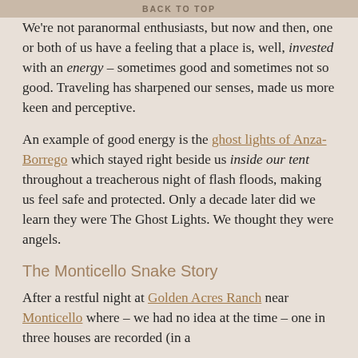BACK TO TOP
We're not paranormal enthusiasts, but now and then, one or both of us have a feeling that a place is, well, invested with an energy – sometimes good and sometimes not so good. Traveling has sharpened our senses, made us more keen and perceptive.
An example of good energy is the ghost lights of Anza-Borrego which stayed right beside us inside our tent throughout a treacherous night of flash floods, making us feel safe and protected. Only a decade later did we learn they were The Ghost Lights. We thought they were angels.
The Monticello Snake Story
After a restful night at Golden Acres Ranch near Monticello where – we had no idea at the time – one in three houses are recorded (in a